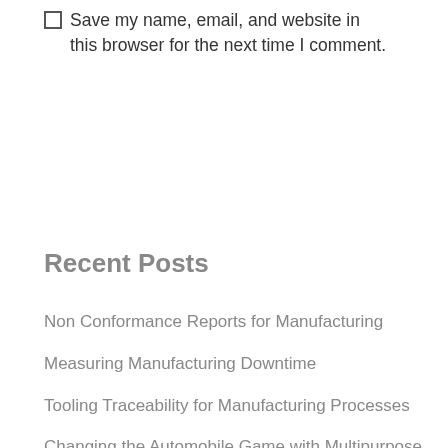Save my name, email, and website in this browser for the next time I comment.
Recent Posts
Non Conformance Reports for Manufacturing
Measuring Manufacturing Downtime
Tooling Traceability for Manufacturing Processes
Changing the Automobile Game with Multipurpose Modular Vans
The Future of E-Vehicles. Changing the Way You